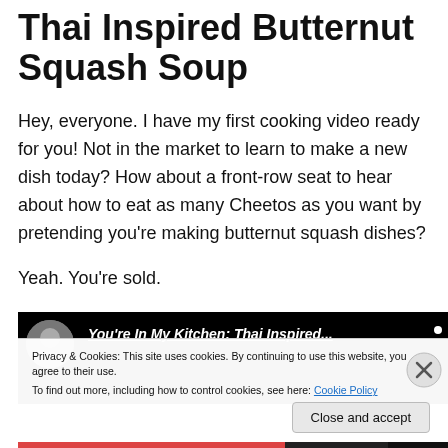Thai Inspired Butternut Squash Soup
Hey, everyone. I have my first cooking video ready for you! Not in the market to learn to make a new dish today? How about a front-row seat to hear about how to eat as many Cheetos as you want by pretending you're making butternut squash dishes?
Yeah. You're sold.
[Figure (screenshot): Video thumbnail showing a person and the title 'You're In My Kitchen: Thai Inspired...' on a dark background]
Privacy & Cookies: This site uses cookies. By continuing to use this website, you agree to their use. To find out more, including how to control cookies, see here: Cookie Policy
Close and accept